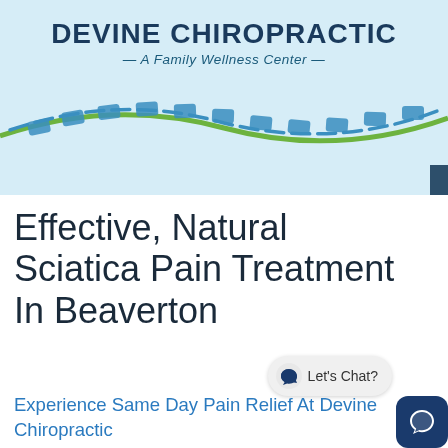[Figure (logo): Devine Chiropractic logo with spine wave graphic on light blue background]
Effective, Natural Sciatica Pain Treatment In Beaverton
Experience Same Day Pain Relief At Devine Chiropractic